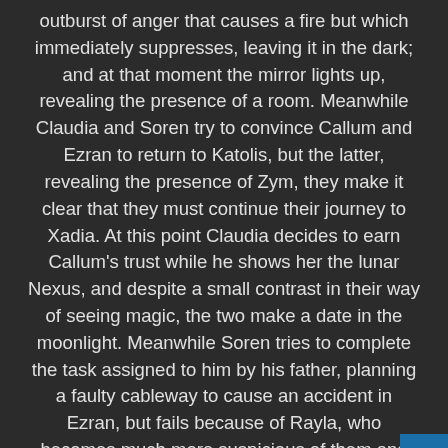outburst of anger that causes a fire but which immediately suppresses, leaving it in the dark; and at that moment the mirror lights up, revealing the presence of a room. Meanwhile Claudia and Soren try to convince Callum and Ezran to return to Katolis, but the latter, revealing the presence of Zym, they make it clear that they must continue their journey to Xadia. At this point Claudia decides to earn Callum's trust while he shows her the lunar Nexus, and despite a small contrast in their way of seeing magic, the two make a date in the moonlight. Meanwhile Soren tries to complete the task assigned to him by his father, planning a faulty cableway to cause an accident in Ezran, but fails because of Rayla, who becomes much more suspicious of them and decides to confide in Callum, but he he cannot believe that Soren and Claudia may have ulterior motives, also implying that he does not trust enough in the elf. During the night Callum and Claudia manage to be alone and enjoy the moonlight reflected